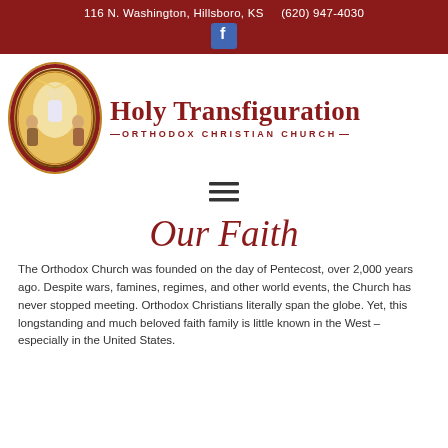116 N. Washington, Hillsboro, KS    (620) 947-4030
[Figure (logo): Holy Transfiguration Orthodox Christian Church logo with icon of the Transfiguration and church name text]
[Figure (illustration): Hamburger menu icon (three horizontal lines)]
Our Faith
The Orthodox Church was founded on the day of Pentecost, over 2,000 years ago. Despite wars, famines, regimes, and other world events, the Church has never stopped meeting. Orthodox Christians literally span the globe. Yet, this longstanding and much beloved faith family is little known in the West – especially in the United States.